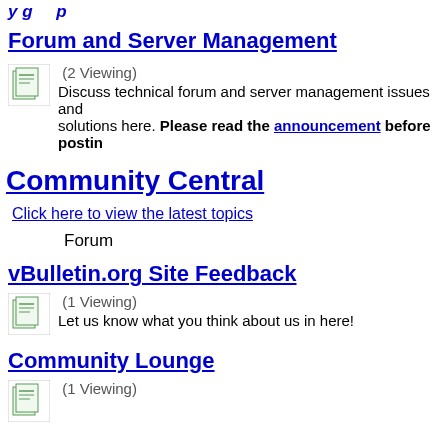y g p
Forum and Server Management
[Figure (illustration): Small forum icon image with document/page icon]
(2 Viewing)
Discuss technical forum and server management issues and solutions here. Please read the announcement before postin…
Community Central
Click here to view the latest topics
Forum
vBulletin.org Site Feedback
[Figure (illustration): Small forum icon image with document/page icon]
(1 Viewing)
Let us know what you think about us in here!
Community Lounge
[Figure (illustration): Small forum icon image]
(1 Viewing)